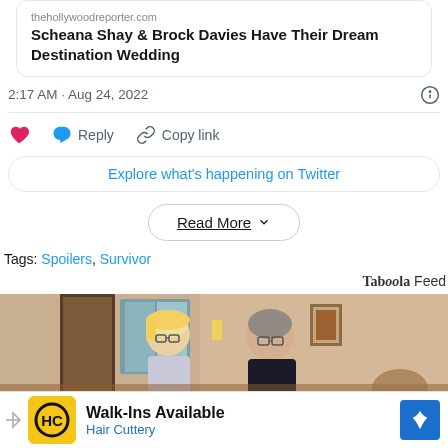Scheana Shay & Brock Davies Have Their Dream Destination Wedding
2:17 AM · Aug 24, 2022
Reply   Copy link
Explore what's happening on Twitter
Read More
Tags: Spoilers, Survivor
Taboola Feed
[Figure (photo): Two older adults (a woman with blonde hair and glasses, and a man in dark clothing) sitting indoors near a window and framed picture on wall]
Walk-Ins Available  Hair Cuttery